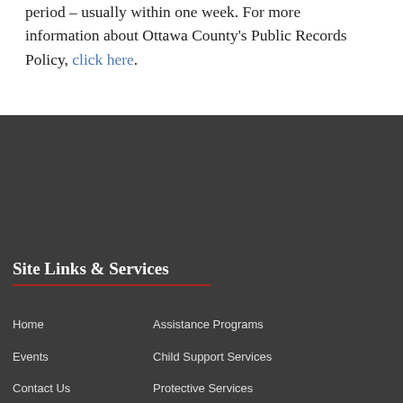period – usually within one week. For more information about Ottawa County's Public Records Policy, click here.
Site Links & Services
Home
Events
Contact Us
About Us
Assistance Programs
Child Support Services
Protective Services